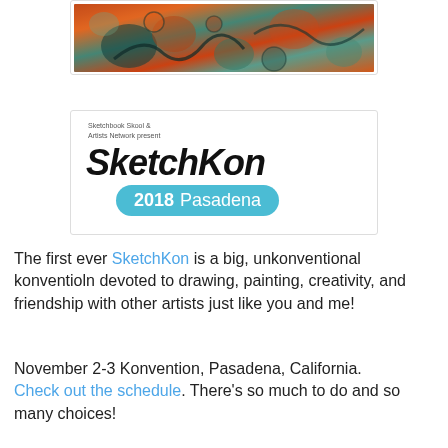[Figure (photo): Colorful mixed-media artwork with abstract organic shapes in orange, teal, green and red tones]
[Figure (logo): SketchKon 2018 Pasadena logo — handwritten-style 'SketchKon' text above a blue pill-shaped banner reading '2018 Pasadena', with small text 'Sketchbook Skool & Artists Network present']
The first ever SketchKon is a big, unkonventional konventioln devoted to drawing, painting, creativity, and friendship with other artists just like you and me!
November 2-3 Konvention, Pasadena, California. Check out the schedule. There's so much to do and so many choices!